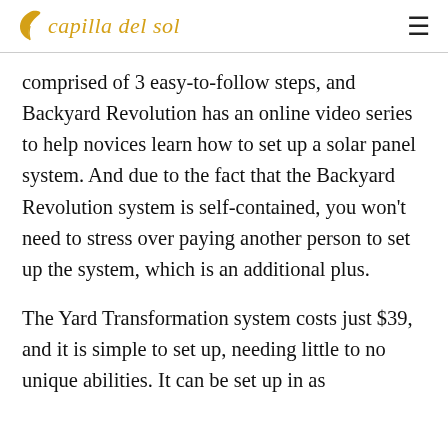capilla del sol
comprised of 3 easy-to-follow steps, and Backyard Revolution has an online video series to help novices learn how to set up a solar panel system. And due to the fact that the Backyard Revolution system is self-contained, you won't need to stress over paying another person to set up the system, which is an additional plus.
The Yard Transformation system costs just $39, and it is simple to set up, needing little to no unique abilities. It can be set up in as